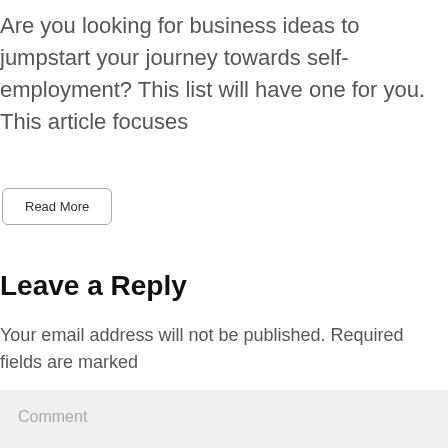Are you looking for business ideas to jumpstart your journey towards self-employment? This list will have one for you. This article focuses
Read More
Leave a Reply
Your email address will not be published. Required fields are marked
Comment